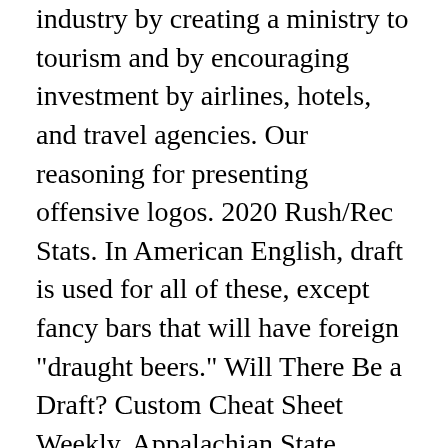industry by creating a ministry to tourism and by encouraging investment by airlines, hotels, and travel agencies. Our reasoning for presenting offensive logos. 2020 Rush/Rec Stats. In American English, draft is used for all of these, except fancy bars that will have foreign "draught beers." Will There Be a Draft? Custom Cheat Sheet Weekly. Appalachian State running back Camerun Peoples (6) runs past North Texas defensive back Upton Stout (18) during the inaugural Myrtle Beach Bowl NCAA college football game, Monday, Dec. 21, 2020, at Brooks Stadium in Conway, S.C. Recent RotoWire Articles Featuring Camerun Peoples. 159. This service is intended for adult audiences. Articles Columns Writers. Actor Kirk